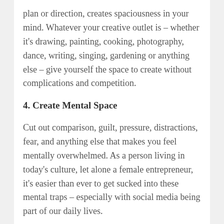plan or direction, creates spaciousness in your mind. Whatever your creative outlet is – whether it's drawing, painting, cooking, photography, dance, writing, singing, gardening or anything else – give yourself the space to create without complications and competition.
4. Create Mental Space
Cut out comparison, guilt, pressure, distractions, fear, and anything else that makes you feel mentally overwhelmed. As a person living in today's culture, let alone a female entrepreneur, it's easier than ever to get sucked into these mental traps – especially with social media being part of our daily lives.
However, freeing your mind from worrying